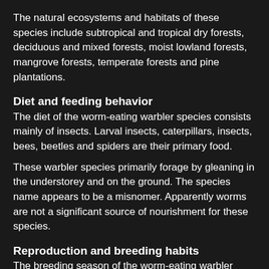The natural ecosystems and habitats of these species include subtropical and tropical dry forests, deciduous and mixed forests, moist lowland forests, mangrove forests, temperate forests and pine plantations.
Diet and feeding behavior
The diet of the worm-eating warbler species consists mainly of insects. Larval insects, caterpillars, insects, bees, beetles and spiders are their primary food.
These warbler species primarily forage by gleaning in the understorey and on the ground. The species name appears to be a misnomer. Apparently worms are not a significant source of nourishment for these species.
Reproduction and breeding habits
The breeding season of the worm-eating warbler species is from May to July in most of their breeding range. The breeding sites are found in wooded slopes of dense deciduous forests.